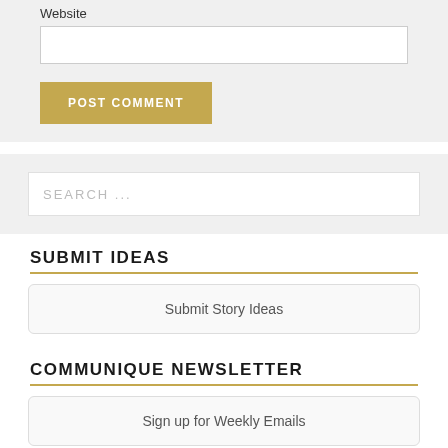Website
POST COMMENT
SEARCH ...
SUBMIT IDEAS
Submit Story Ideas
COMMUNIQUE NEWSLETTER
Sign up for Weekly Emails